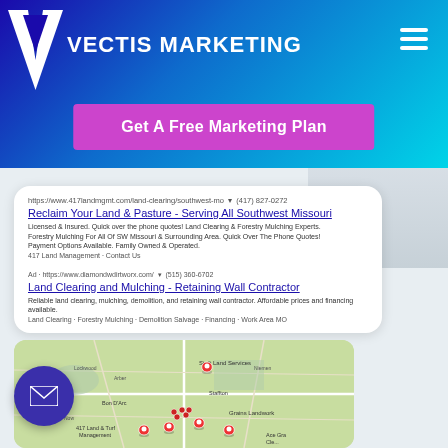[Figure (logo): Vectis Marketing logo with white V chevron icon and VECTIS MARKETING text on blue gradient header background]
Get A Free Marketing Plan
[Figure (screenshot): Google search results showing two ads: 1) Reclaim Your Land & Pasture - Serving All Southwest Missouri from https://www.417landmgmt.com/land-clearing/southwest-mo (417) 827-0272, 2) Land Clearing and Mulching - Retaining Wall Contractor from https://www.diamondwdirtworx.com/ (515) 360-6702, followed by a Google Maps view showing 417 Land & Turf Management and other land service businesses in southwest Missouri area.]